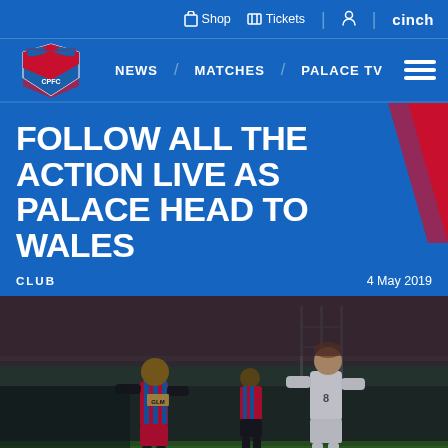Shop | Tickets | cinch
NEWS / MATCHES / PALACE TV
FOLLOW ALL THE ACTION LIVE AS PALACE HEAD TO WALES
CLUB | 4 May 2019
[Figure (photo): Crystal Palace vs Cardiff City football match photo showing Crystal Palace players in red and blue striped kits competing against a player in white kit on the pitch, with stadium crowd in background.]